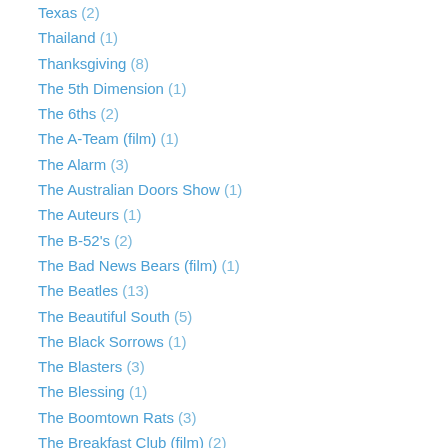Texas (2)
Thailand (1)
Thanksgiving (8)
The 5th Dimension (1)
The 6ths (2)
The A-Team (film) (1)
The Alarm (3)
The Australian Doors Show (1)
The Auteurs (1)
The B-52's (2)
The Bad News Bears (film) (1)
The Beatles (13)
The Beautiful South (5)
The Black Sorrows (1)
The Blasters (3)
The Blessing (1)
The Boomtown Rats (3)
The Breakfast Club (film) (2)
The Brothers Johnson (2)
The Byrds (2)